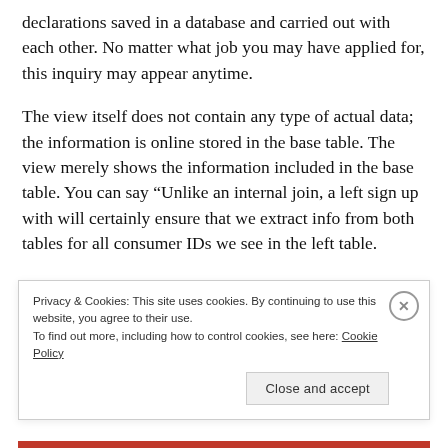declarations saved in a database and carried out with each other. No matter what job you may have applied for, this inquiry may appear anytime.
The view itself does not contain any type of actual data; the information is online stored in the base table. The view merely shows the information included in the base table. You can say “Unlike an internal join, a left sign up with will certainly ensure that we extract info from both tables for all consumer IDs we see in the left table.
they will freely tie in to the particular locations that you
Privacy & Cookies: This site uses cookies. By continuing to use this website, you agree to their use.
To find out more, including how to control cookies, see here: Cookie Policy
Close and accept